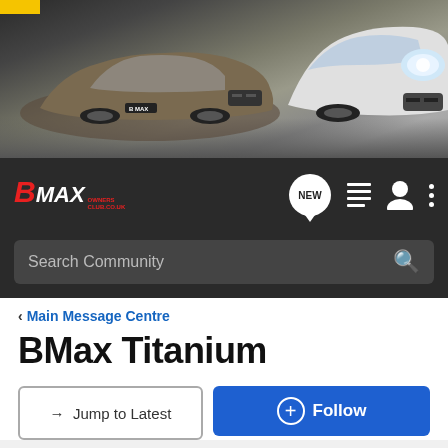[Figure (photo): Header banner showing two Ford B-Max cars on a road, with a yellow bar in top-left corner]
[Figure (logo): BMax Owners Club logo with navigation icons including NEW speech bubble, list icon, user icon, and three-dot menu]
Search Community
< Main Message Centre
BMax Titanium
→ Jump to Latest
+ Follow
1 - 12 of 12 Posts
topolino · Registered
Joined Jun 28, 2014 · 10 Posts